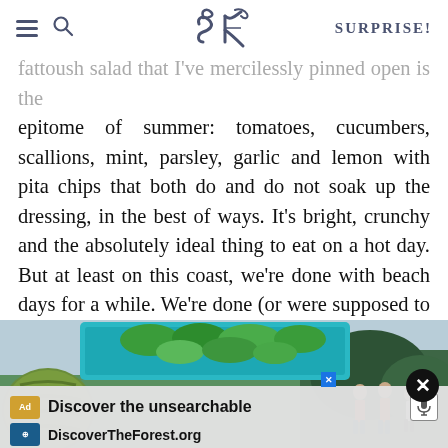SK | SURPRISE!
fattoush salad that I've mercilessly pinned open is the epitome of summer: tomatoes, cucumbers, scallions, mint, parsley, garlic and lemon with pita chips that both do and do not soak up the dressing, in the best of ways. It's bright, crunchy and the absolutely ideal thing to eat on a hot day. But at least on this coast, we're done with beach days for a while. We're done (or were supposed to be before today's confusion) with open-toed shoes, permanently open windows, and going out without a jacket and not regretting it. The tomatoes are waning, the heavy orange vegetables and dark leafy greens are creeping in.
[Figure (photo): Outdoor nature/food scene with squash/gourd on left, teal basket of green vegetables in center, and hikers in forest on right. An advertisement overlay at the bottom reads 'Discover the unsearchable / DiscoverTheForest.org' with ad icons and a close button.]